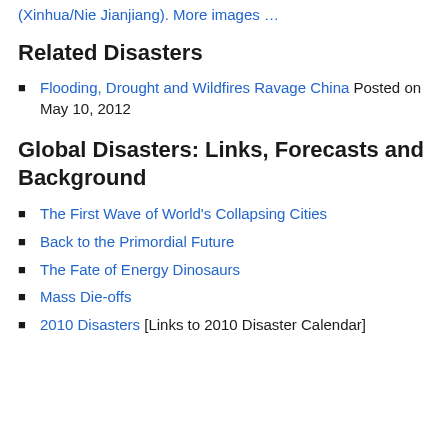(Xinhua/Nie Jianjiang). More images …
Related Disasters
Flooding, Drought and Wildfires Ravage China Posted on May 10, 2012
Global Disasters: Links, Forecasts and Background
The First Wave of World's Collapsing Cities
Back to the Primordial Future
The Fate of Energy Dinosaurs
Mass Die-offs
2010 Disasters [Links to 2010 Disaster Calendar]